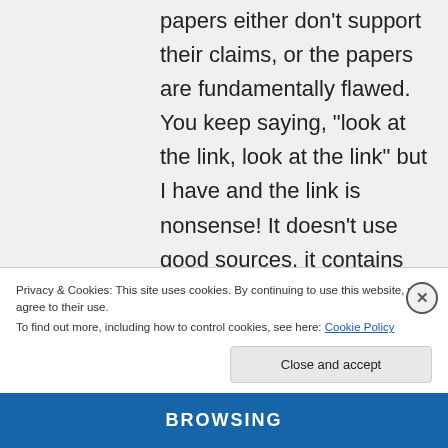papers either don't support their claims, or the papers are fundamentally flawed. You keep saying, “look at the link, look at the link” but I have and the link is nonsense! It doesn’t use good sources, it contains countless scientifically false statements, it is riddled with logical fallacies. it is a
Privacy & Cookies: This site uses cookies. By continuing to use this website, you agree to their use. To find out more, including how to control cookies, see here: Cookie Policy
Close and accept